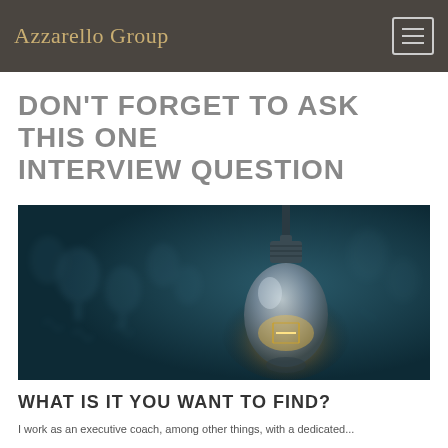Azzarello Group
DON'T FORGET TO ASK THIS ONE INTERVIEW QUESTION
[Figure (photo): Close-up photograph of a glowing incandescent light bulb hanging against a dark teal background with blurred light bulbs visible behind it.]
WHAT IS IT YOU WANT TO FIND?
I work as an executive coach, among other things, with a dedicated...